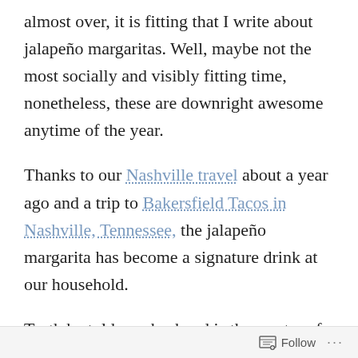almost over, it is fitting that I write about jalapeño margaritas. Well, maybe not the most socially and visibly fitting time, nonetheless, these are downright awesome anytime of the year.
Thanks to our Nashville travel about a year ago and a trip to Bakersfield Tacos in Nashville, Tennessee, the jalapeño margarita has become a signature drink at our household.
Truth be told, my husband is the master of this recipe. The fresh limes and, obviously, fresh jalapeños are a must; and I am partial to whatever clear tequila Costco is marketing. As for the margarita mix, we decrease the recommended amount of mix (and offset with recommended tequila amount) to cut back on the sweetness of the drink and let
Follow ···